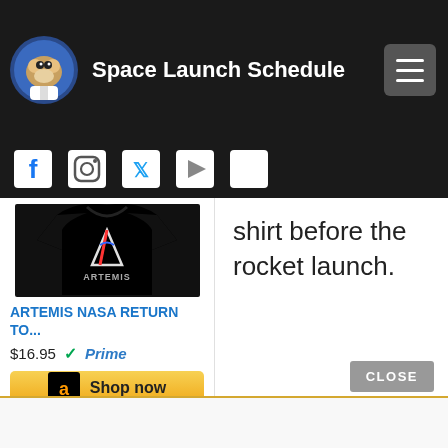Space Launch Schedule
[Figure (screenshot): Social media icons row: Facebook, Instagram, Twitter, Google Play, Apple]
[Figure (photo): Artemis NASA t-shirt product image on black background with Artemis logo]
ARTEMIS NASA RETURN TO...
$16.95 Prime
Shop now
shirt before the rocket launch.
CLOSE